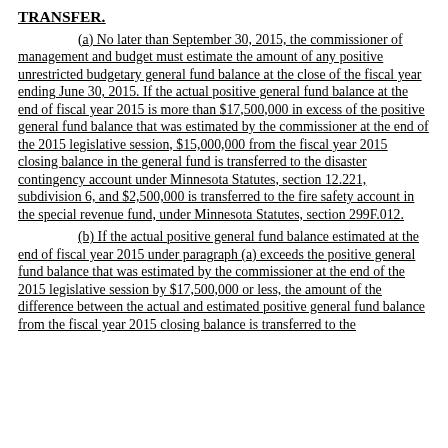TRANSFER.
(a) No later than September 30, 2015, the commissioner of management and budget must estimate the amount of any positive unrestricted budgetary general fund balance at the close of the fiscal year ending June 30, 2015. If the actual positive general fund balance at the end of fiscal year 2015 is more than $17,500,000 in excess of the positive general fund balance that was estimated by the commissioner at the end of the 2015 legislative session, $15,000,000 from the fiscal year 2015 closing balance in the general fund is transferred to the disaster contingency account under Minnesota Statutes, section 12.221, subdivision 6, and $2,500,000 is transferred to the fire safety account in the special revenue fund, under Minnesota Statutes, section 299F.012.
(b) If the actual positive general fund balance estimated at the end of fiscal year 2015 under paragraph (a) exceeds the positive general fund balance that was estimated by the commissioner at the end of the 2015 legislative session by $17,500,000 or less, the amount of the difference between the actual and estimated positive general fund balance from the fiscal year 2015 closing balance is transferred to the